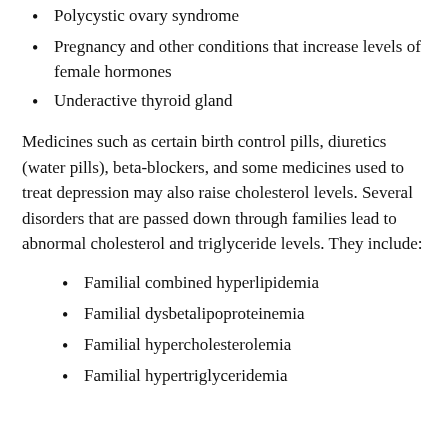Polycystic ovary syndrome
Pregnancy and other conditions that increase levels of female hormones
Underactive thyroid gland
Medicines such as certain birth control pills, diuretics (water pills), beta-blockers, and some medicines used to treat depression may also raise cholesterol levels. Several disorders that are passed down through families lead to abnormal cholesterol and triglyceride levels. They include:
Familial combined hyperlipidemia
Familial dysbetalipoproteinemia
Familial hypercholesterolemia
Familial hypertriglyceridemia